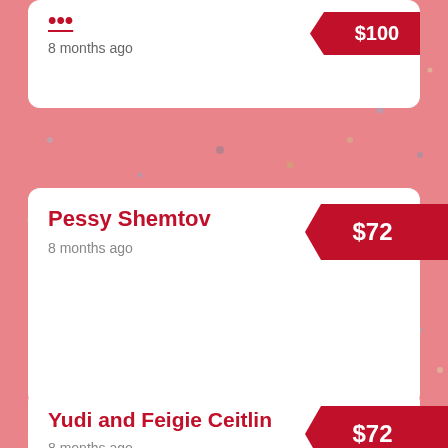[Figure (other): Pink confetti dot background overlay scattered across entire page]
8 months ago | $100
Pessy Shemtov | 8 months ago | $72
Yudi and Feigie Ceitlin | 8 months ago | $72